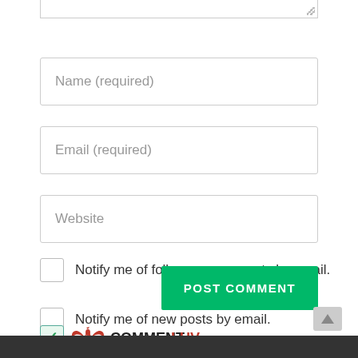[Figure (screenshot): Partial textarea input box cropped at top of page]
Name (required)
Email (required)
Website
Notify me of follow-up comments by email.
Notify me of new posts by email.
POST COMMENT
[Figure (logo): CommentLuv logo with red phoenix wings and text COMMENT in black LUV in red, with green checked checkbox to the left]